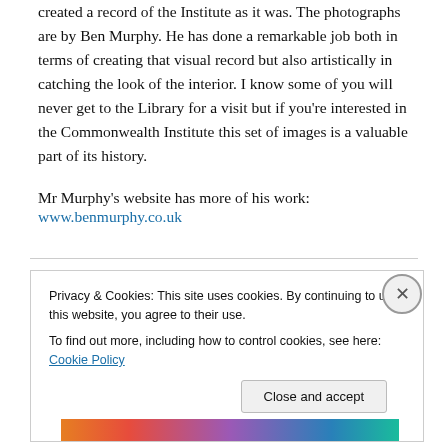created a record of the Institute as it was. The photographs are by Ben Murphy. He has done a remarkable job both in terms of creating that visual record but also artistically in catching the look of the interior. I know some of you will never get to the Library for a visit but if you're interested in the Commonwealth Institute this set of images is a valuable part of its history.
Mr Murphy's website has more of his work:
www.benmurphy.co.uk
Privacy & Cookies: This site uses cookies. By continuing to use this website, you agree to their use.
To find out more, including how to control cookies, see here: Cookie Policy
[Figure (illustration): Colourful decorative image strip at the bottom of the cookie banner]